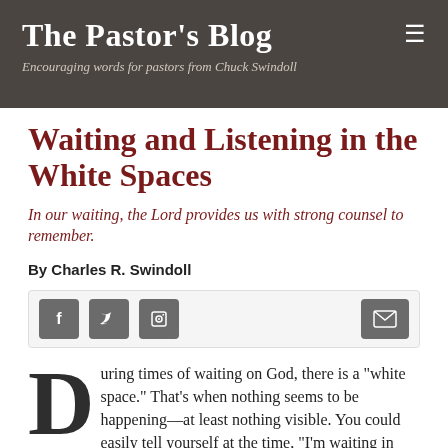The Pastor's Blog
Encouraging words for pastors from Chuck Swindoll
Waiting and Listening in the White Spaces
In our waiting, the Lord provides us with strong counsel to remember.
By Charles R. Swindoll
[Figure (other): Social sharing buttons: Facebook, Twitter, Pinterest icons on left; email icon on right]
During times of waiting on God, there is a "white space." That's when nothing seems to be happening—at least nothing visible. You could easily tell yourself at the time, "I'm waiting in vain..."